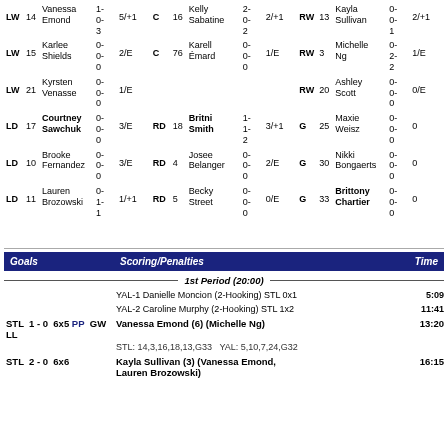| Pos | # | Name | Stats | GP |
| --- | --- | --- | --- | --- |
| LW | 14 | Vanessa Emond | 1-
0-
3 | 5/+1 |
| LW | 15 | Karlee Shields | 0-
0-
0 | 2/E |
| LW | 21 | Kyrsten Venasse | 0-
0-
0 | 1/E |
| LD | 17 | Courtney Sawchuk | 0-
0-
0 | 3/E |
| LD | 10 | Brooke Fernandez | 0-
0-
0 | 3/E |
| LD | 11 | Lauren Brozowski | 0-
1-
1 | 1/+1 |
| C | 16 | Kelly Sabatine | 2-
0-
2 | 2/+1 |
| C | 76 | Karell Émard | 0-
0-
0 | 1/E |
| RD | 18 | Britni Smith | 1-
1-
2 | 3/+1 |
| RD | 4 | Josee Belanger | 0-
0-
0 | 2/E |
| RD | 5 | Becky Street | 0-
0-
0 | 0/E |
| RW | 13 | Kayla Sullivan | 0-
0-
1 | 2/+1 |
| RW | 3 | Michelle Ng | 0-
2-
2 | 1/E |
| RW | 20 | Ashley Scott | 0-
0-
0 | 0/E |
| G | 25 | Maxie Weisz | 0-
0-
0 | 0 |
| G | 30 | Nikki Bongaerts | 0-
0-
0 | 0 |
| G | 33 | Brittony Chartier | 0-
0-
0 | 0 |
| Goals | Scoring/Penalties | Time |
| --- | --- | --- |
|  | 1st Period (20:00) |  |
|  | YAL-1 Danielle Moncion (2-Hooking) STL 0x1 | 5:09 |
|  | YAL-2 Caroline Murphy (2-Hooking) STL 1x2 | 11:41 |
| STL 1-0 6x5 PP GW LL | Vanessa Emond (6) (Michelle Ng) | 13:20 |
|  | STL: 14,3,16,18,13,G33  YAL: 5,10,7,24,G32 |  |
| STL 2-0 6x6 | Kayla Sullivan (3) (Vanessa Emond, Lauren Brozowski) | 16:15 |